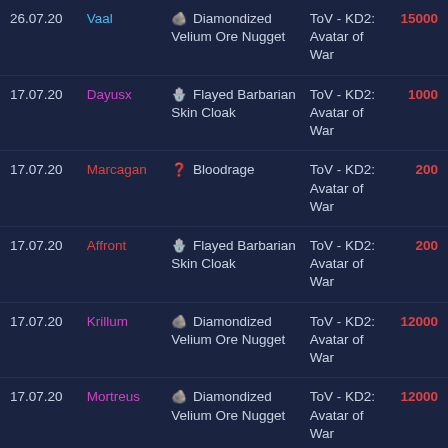| Date | Player | Item | Zone | Value |
| --- | --- | --- | --- | --- |
| 26.07.20 | Vaal | Diamondized Velium Ore Nugget | ToV - KD2: Avatar of War | 15000 |
| 17.07.20 | Dayusx | Flayed Barbarian Skin Cloak | ToV - KD2: Avatar of War | 1000 |
| 17.07.20 | Marcagan | Bloodrage | ToV - KD2: Avatar of War | 200 |
| 17.07.20 | Affront | Flayed Barbarian Skin Cloak | ToV - KD2: Avatar of War | 200 |
| 17.07.20 | Krillum | Diamondized Velium Ore Nugget | ToV - KD2: Avatar of War | 12000 |
| 17.07.20 | Mortreus | Diamondized Velium Ore Nugget | ToV - KD2: Avatar of War | 12000 |
| 17.07.20 | Dayusx | Minor Kromrif | ToV - KD2: | 400 |